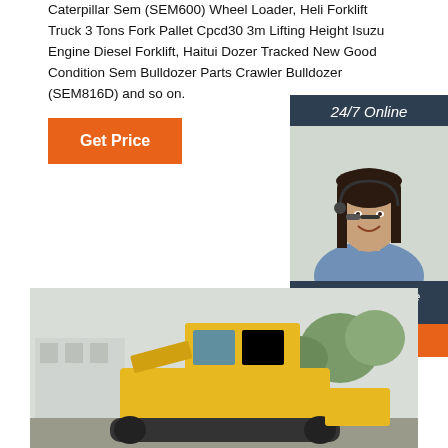Caterpillar Sem (SEM600) Wheel Loader, Heli Forklift Truck 3 Tons Fork Pallet Cpcd30 3m Lifting Height Isuzu Engine Diesel Forklift, Haitui Dozer Tracked New Good Condition Sem Bulldozer Parts Crawler Bulldozer (SEM816D) and so on.
Get Price
[Figure (photo): 24/7 Online customer service representative with headset smiling, with 'Click here for free chat!' text and QUOTATION button]
[Figure (photo): Yellow bulldozer or construction equipment photographed outdoors with trees and building in background]